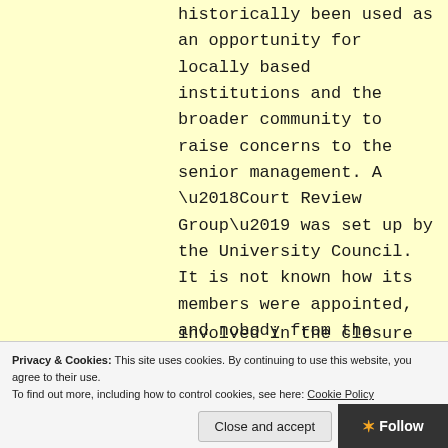historically been used as an opportunity for locally based institutions and the broader community to raise concerns to the senior management. A ‘Court Review Group’ was set up by the University Council. It is not known how its members were appointed, and nobody from the University Court was invited to participate
•
involved in the closure
Privacy & Cookies: This site uses cookies. By continuing to use this website, you agree to their use.
To find out more, including how to control cookies, see here: Cookie Policy
Close and accept
Follow